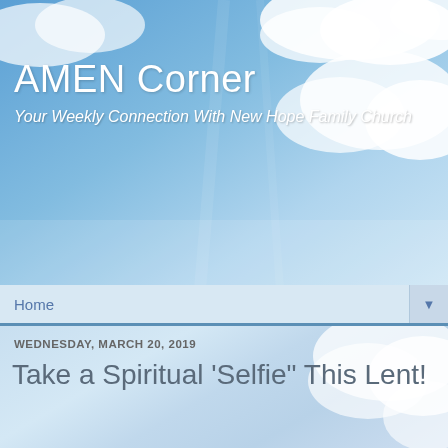[Figure (photo): Blue sky with white clouds background image used as website header banner]
AMEN Corner
Your Weekly Connection With New Hope Family Church
Home ▼
WEDNESDAY, MARCH 20, 2019
Take a Spiritual 'Selfie" This Lent!